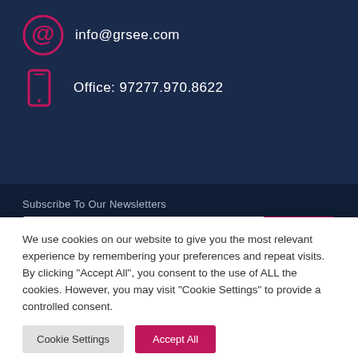info@grsee.com
Office: 97277.970.8622
Subscribe To Our Newsletters
SUBSCRIBE
We use cookies on our website to give you the most relevant experience by remembering your preferences and repeat visits. By clicking "Accept All", you consent to the use of ALL the cookies. However, you may visit "Cookie Settings" to provide a controlled consent.
Cookie Settings
Accept All